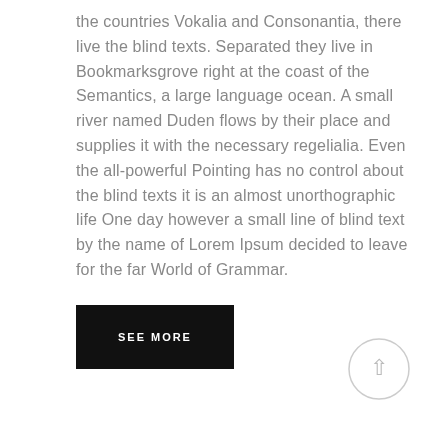the countries Vokalia and Consonantia, there live the blind texts. Separated they live in Bookmarksgrove right at the coast of the Semantics, a large language ocean. A small river named Duden flows by their place and supplies it with the necessary regelialia. Even the all-powerful Pointing has no control about the blind texts it is an almost unorthographic life One day however a small line of blind text by the name of Lorem Ipsum decided to leave for the far World of Grammar.
SEE MORE
[Figure (illustration): A circular back-to-top button with an upward arrow icon, light gray border circle with a dark arrow symbol in the center.]